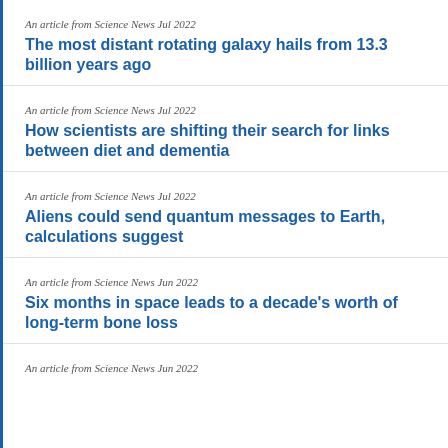An article from Science News Jul 2022
The most distant rotating galaxy hails from 13.3 billion years ago
An article from Science News Jul 2022
How scientists are shifting their search for links between diet and dementia
An article from Science News Jul 2022
Aliens could send quantum messages to Earth, calculations suggest
An article from Science News Jun 2022
Six months in space leads to a decade's worth of long-term bone loss
An article from Science News Jun 2022